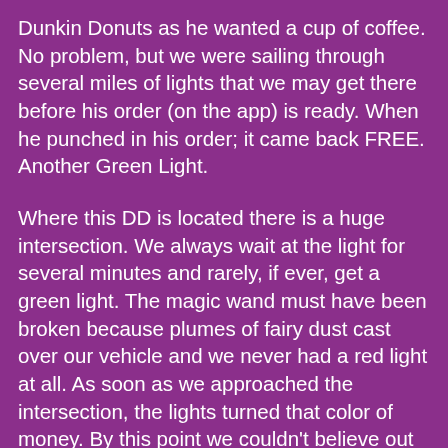Dunkin Donuts as he wanted a cup of coffee. No problem, but we were sailing through several miles of lights that we may get there before his order (on the app) is ready. When he punched in his order; it came back FREE. Another Green Light.
Where this DD is located there is a huge intersection. We always wait at the light for several minutes and rarely, if ever, get a green light. The magic wand must have been broken because plumes of fairy dust cast over our vehicle and we never had a red light at all. As soon as we approached the intersection, the lights turned that color of money. By this point we couldn't believe out "luck."
Our afternoon went quick. Once home I got ready and left to officiate a Boys Varsity High School soccer game, and Bill took Ryan to a dermatology appointment at the University of Maryland. Thankfully, after a week of crazy high school coaches in my craw, I refereed the most beautiful game of soccer with two Christian High School teams. I never heard a word out of a parent, student, player or coach. We all stood in the center of the field and the coach from the home team